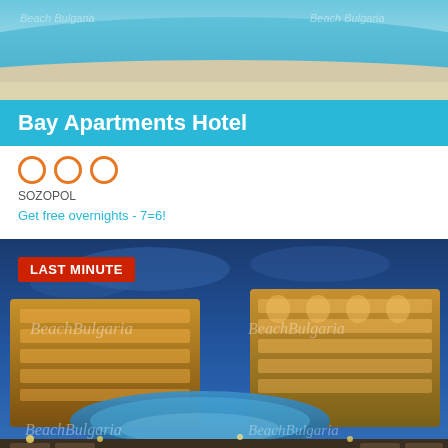[Figure (photo): Aerial view of beach with turquoise water and sand]
Bay Apartments Hotel
[Figure (other): Three orange star rating circles (3 stars)]
SOZOPOL
Get free overnights - 7=6!
[Figure (photo): Night photo of hotel building complex with swimming pool lit up, with LAST MINUTE badge and BeachBulgaria watermarks]